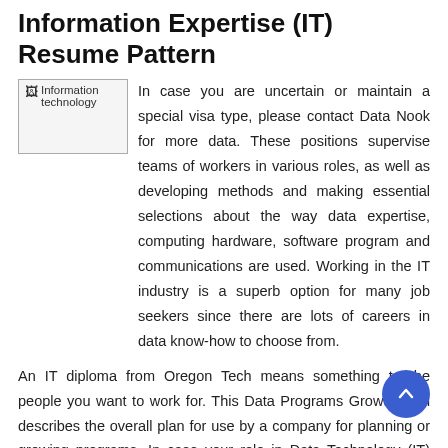Information Expertise (IT) Resume Pattern
[Figure (photo): Broken image placeholder labeled 'Information technology']
In case you are uncertain or maintain a special visa type, please contact Data Nook for more data. These positions supervise teams of workers in various roles, as well as developing methods and making essential selections about the way data expertise, computing hardware, software program and communications are used. Working in the IT industry is a superb option for many job seekers since there are lots of careers in data know-how to choose from.
An IT diploma from Oregon Tech means something to the people you want to work for. This Data Programs Growth Plan describes the overall plan for use by a company for planning or growing programs. In case your role in Data Technology (IT) does not mesh with the resume sample on this web page, that is high quality.